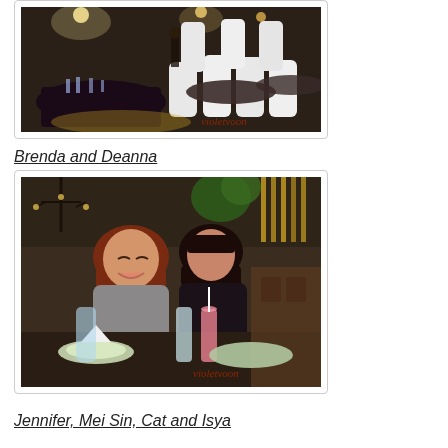[Figure (photo): Interior of a restaurant with round tables covered in dark purple/black tablecloths, white chair covers, glassware on tables, taken at night. Watermark: violetvoon]
Brenda and Deanna
[Figure (photo): Two women smiling at a restaurant table with drinks, plates and glasses. Indoor restaurant setting with plants and wooden furniture in background. Watermark: violetvoon]
Jennifer, Mei Sin, Cat and Isya